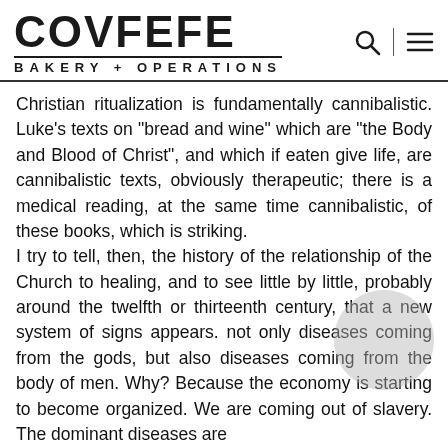COVFEFE BAKERY + OPERATIONS
Christian ritualization is fundamentally cannibalistic. Luke's texts on "bread and wine" which are "the Body and Blood of Christ", and which if eaten give life, are cannibalistic texts, obviously therapeutic; there is a medical reading, at the same time cannibalistic, of these books, which is striking.
I try to tell, then, the history of the relationship of the Church to healing, and to see little by little, probably around the twelfth or thirteenth century, that a new system of signs appears. not only diseases coming from the gods, but also diseases coming from the body of men. Why? Because the economy is starting to become organized. We are coming out of slavery. The dominant diseases are